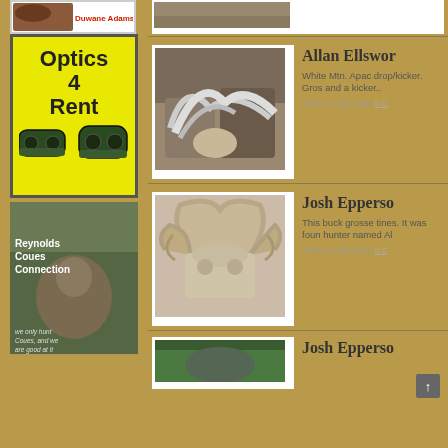[Figure (photo): Duwane Adams logo/banner with antler photo and red text]
[Figure (photo): Optics 4 Rent advertisement box with yellow background, black text, and binoculars graphic]
[Figure (photo): Reynolds Coues Connection advertisement with hunter and deer photo, text overlay reading 'we only hunt Coues, and we are good at it']
[Figure (photo): Partial top photo showing rocky/stone surface]
[Figure (photo): Coues deer shed antlers on rocky ground - Allan Ellsworth post thumbnail]
Allan Ellsworth
White Mtn. Apache drop/kicker. Gross and a kicker..
JUNE 10, 2012 with 0 C
[Figure (photo): Coues deer skull with antlers illustration/rendering - Josh Epperson post thumbnail]
Josh Epperson
This buck grossed tines. It was found hunter named Al
JUNE 10, 2012 with 0 C
[Figure (photo): Partial portrait photo of a person outdoors - Josh Epperson post thumbnail (cut off)]
Josh Epperson